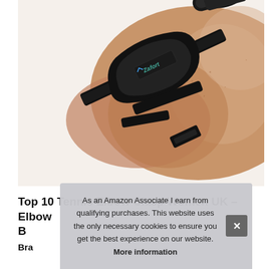[Figure (photo): Photo of a person's arm/elbow wearing a black Zafort tennis elbow clasp/brace strap, with a second brace shown in the upper right corner against a white background.]
Top 10 Tennis Elbow Clasp Women UK – Elbow B
Bra
As an Amazon Associate I earn from qualifying purchases. This website uses the only necessary cookies to ensure you get the best experience on our website. More information